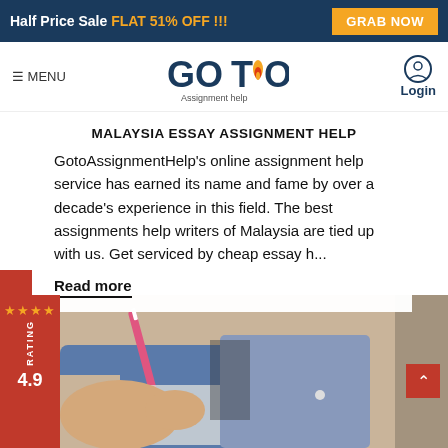Half Price Sale FLAT 51% OFF !!! | GRAB NOW
[Figure (logo): GOTO Assignment help logo]
≡ MENU
Login
MALAYSIA ESSAY ASSIGNMENT HELP
GotoAssignmentHelp's online assignment help service has earned its name and fame by over a decade's experience in this field. The best assignments help writers of Malaysia are tied up with us. Get serviced by cheap essay h...
Read more
Call Back
[Figure (photo): Student writing with a pen, studying]
★★★★ RATING 4.9